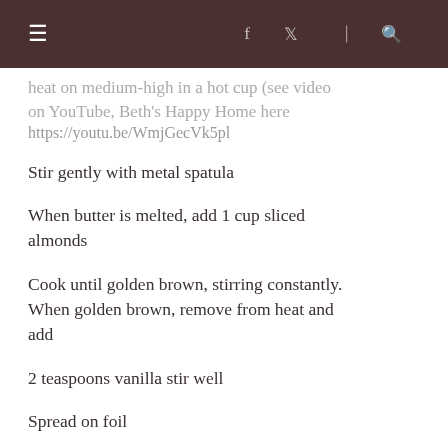≡  f  🐦  ☰  🔍
heat on medium-high in a hot cup (see video on YouTube, Beth's Happy Home here https://youtu.be/WmjGecVk5pl
Stir gently with metal spatula
When butter is melted, add 1 cup sliced almonds
Cook until golden brown, stirring constantly. When golden brown, remove from heat and add
2 teaspoons vanilla stir well
Spread on foil
Sprinkle with 2 cups (12 oz bag. semi...